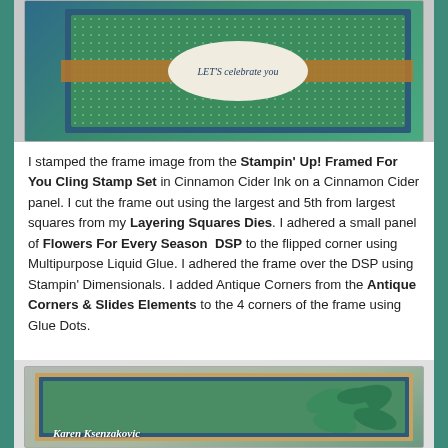[Figure (photo): A handmade greeting card with green polka-dot paper, a brown ribbon, and a white oval label reading 'LET'S celebrate you' in navy script, displayed at an angle on a gray surface.]
I stamped the frame image from the Stampin' Up! Framed For You Cling Stamp Set in Cinnamon Cider Ink on a Cinnamon Cider panel.  I cut the frame out using the largest and 5th from largest squares from my Layering Squares Dies.  I adhered a small panel of Flowers For Every Season  DSP to the flipped corner using Multipurpose Liquid Glue.  I adhered the frame over the DSP using Stampin' Dimensionals.  I added Antique Corners from the Antique Corners & Slides Elements to the 4 corners of the frame using Glue Dots.
[Figure (photo): A handmade card with green leaf stamping on a navy blue panel layered over a brown/tan base, with a signature reading 'Karen Ksenzakovic' in white script at the bottom left.]